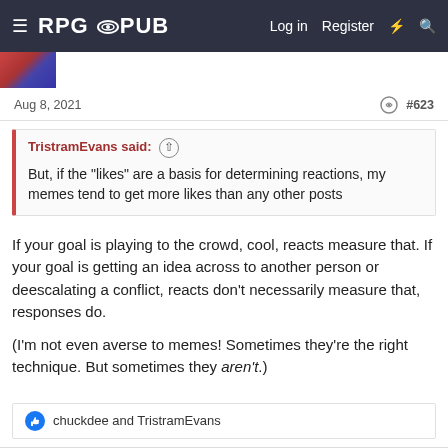RPGPub   Log in   Register
Aug 8, 2021   #623
TristramEvans said: ↑

But, if the "likes" are a basis for determining reactions, my memes tend to get more likes than any other posts
If your goal is playing to the crowd, cool, reacts measure that. If your goal is getting an idea across to another person or deescalating a conflict, reacts don't necessarily measure that, responses do.

(I'm not even averse to memes! Sometimes they're the right technique. But sometimes they aren't.)
chuckdee and TristramEvans